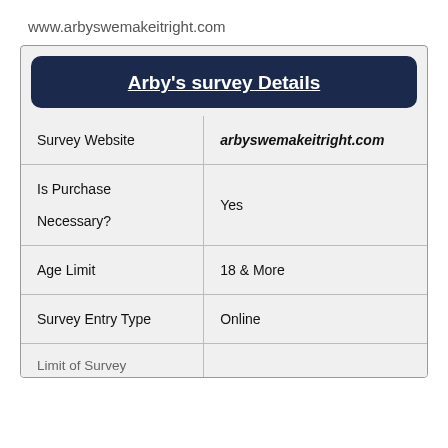www.arbyswemakeitright.com
|  |  |
| --- | --- |
| Survey Website | arbyswemakeitright.com |
| Is Purchase Necessary? | Yes |
| Age Limit | 18 & More |
| Survey Entry Type | Online |
| Limit of Survey |  |